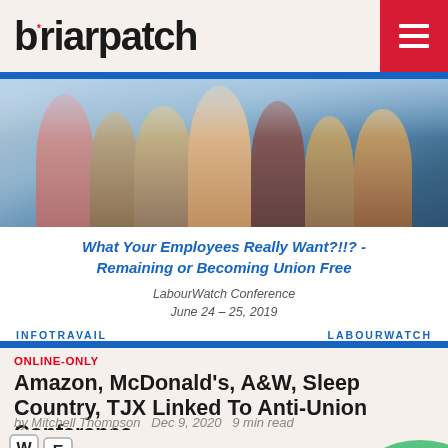briarpatch
[Figure (photo): Advertisement slide showing a group of smiling business professionals. Title reads: What Your Employees Really Want?!!? - Remaining or Becoming Union Free. LabourWatch Conference June 24 – 25, 2019. Logos: INFOTRAVAIL and LABOURWATCH.]
ONLINE-ONLY
Amazon, McDonald's, A&W, Sleep Country, TJX Linked To Anti-Union Conference
by Mitchell Thompson  Dec 9, 2020  9 min read
[Figure (illustration): Illustrated image with bold lettering spelling WE PROTECT, with cartoon characters, flowers, and colorful decorative elements.]